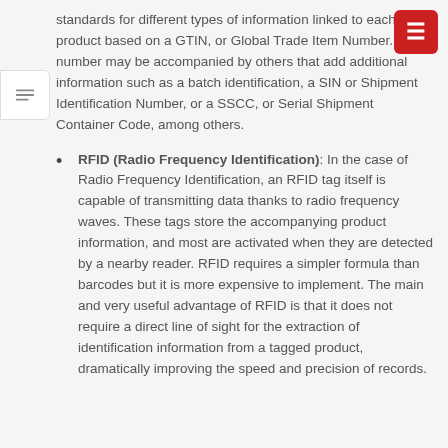standards for different types of information linked to each product based on a GTIN, or Global Trade Item Number. This number may be accompanied by others that add additional information such as a batch identification, a SIN or Shipment Identification Number, or a SSCC, or Serial Shipment Container Code, among others.
RFID (Radio Frequency Identification): In the case of Radio Frequency Identification, an RFID tag itself is capable of transmitting data thanks to radio frequency waves. These tags store the accompanying product information, and most are activated when they are detected by a nearby reader. RFID requires a simpler formula than barcodes but it is more expensive to implement. The main and very useful advantage of RFID is that it does not require a direct line of sight for the extraction of identification information from a tagged product, dramatically improving the speed and precision of records.